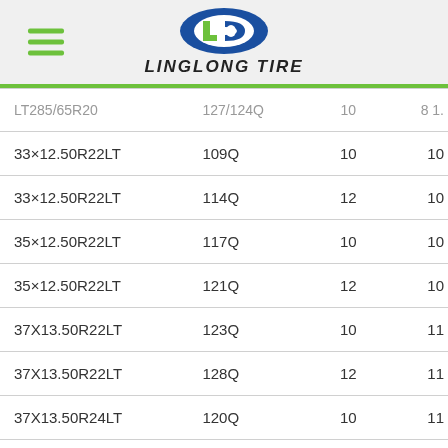LINGLONG TIRE
| Size | Load/Speed | PR |  |
| --- | --- | --- | --- |
| LT285/65R20 | 127/124Q | 10 | 8 1. |
| 33×12.50R22LT | 109Q | 10 | 10 |
| 33×12.50R22LT | 114Q | 12 | 10 |
| 35×12.50R22LT | 117Q | 10 | 10 |
| 35×12.50R22LT | 121Q | 12 | 10 |
| 37X13.50R22LT | 123Q | 10 | 11 |
| 37X13.50R22LT | 128Q | 12 | 11 |
| 37X13.50R24LT | 120Q | 10 | 11 |
| 37X13.50R26LT | 114Q | 10 | 11 |